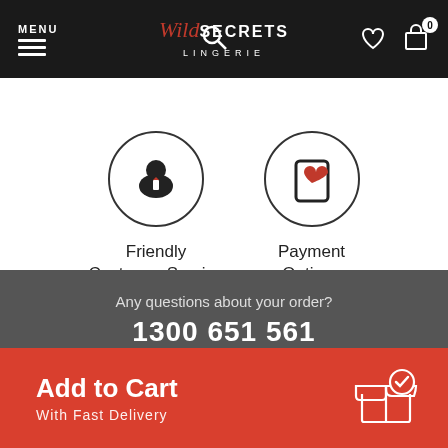MENU | Wild Secrets Lingerie | Search | Wishlist | Cart (0)
[Figure (illustration): Friendly Customer Service icon: person in suit with bow tie inside a circle]
Friendly
Customer Service
[Figure (illustration): Payment Options icon: phone/tablet with heart symbol inside a circle]
Payment
Options
Any questions about your order?
1300 651 561
9.00am - 5.00pm AEST
Monday to Friday
Add to Cart
With Fast Delivery